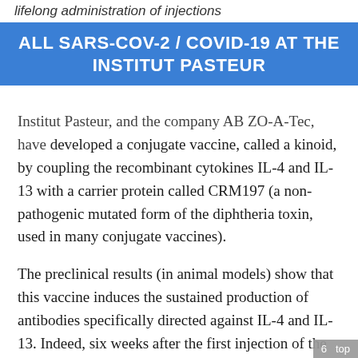lifelong administration of injections
ALL SARS-COV-2 / COVID-19 AT THE INSTITUT PASTEUR
Institut Pasteur, and the company AB ZO-A-Tec, have developed a conjugate vaccine, called a kinoid, by coupling the recombinant cytokines IL-4 and IL-13 with a carrier protein called CRM197 (a non-pathogenic mutated form of the diphtheria toxin, used in many conjugate vaccines).
The preclinical results (in animal models) show that this vaccine induces the sustained production of antibodies specifically directed against IL-4 and IL-13. Indeed, six weeks after the first injection of the conjugate vaccine, 90% of the mice presented high levels of antibodies. Over one year after primary immunization, 60% of them still had antibodies capable of neutralizing IL-4
6 top